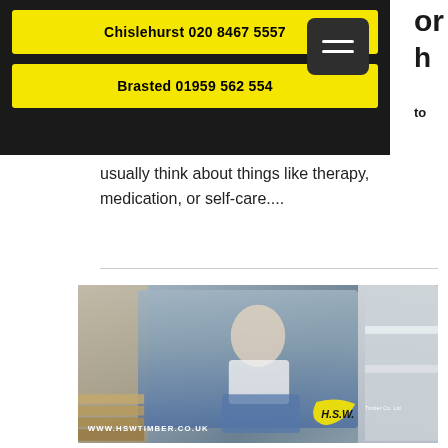or
h
to
Chislehurst 020 8467 5557
Brasted 01959 562 554
usually think about things like therapy, medication, or self-care....
[Figure (photo): Woman sitting on staircase holding a screwdriver and a piece of wood, smiling. HSW Timber Co. Ltd advertisement with website www.hswtimber.co.uk]